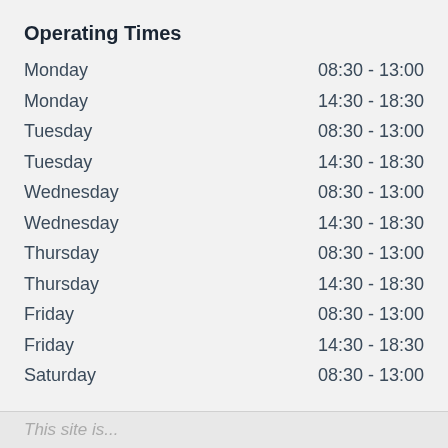Operating Times
| Day | Time |
| --- | --- |
| Monday | 08:30 - 13:00 |
| Monday | 14:30 - 18:30 |
| Tuesday | 08:30 - 13:00 |
| Tuesday | 14:30 - 18:30 |
| Wednesday | 08:30 - 13:00 |
| Wednesday | 14:30 - 18:30 |
| Thursday | 08:30 - 13:00 |
| Thursday | 14:30 - 18:30 |
| Friday | 08:30 - 13:00 |
| Friday | 14:30 - 18:30 |
| Saturday | 08:30 - 13:00 |
Instructions
Important information please note: For all Italian …
more